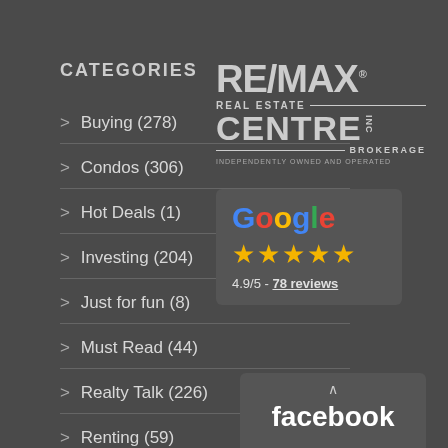CATEGORIES
> Buying (278)
> Condos (306)
> Hot Deals (1)
> Investing (204)
> Just for fun (8)
> Must Read (44)
> Realty Talk (226)
> Renting (59)
[Figure (logo): RE/MAX Real Estate Centre INC Brokerage logo, independently owned and operated]
[Figure (infographic): Google review widget showing 4.9/5 rating with 5 gold stars and 78 reviews]
[Figure (logo): Facebook logo widget partially visible at bottom]